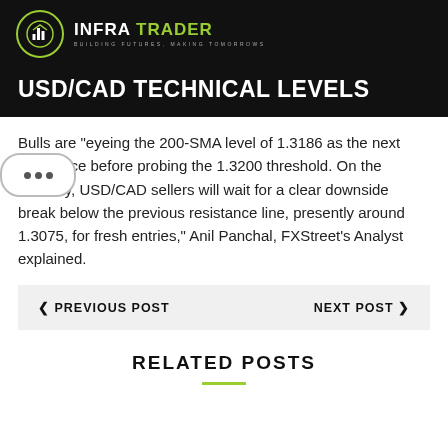INFRA TRADER — BUILDING FUTURES, MAKING TOMORROWS
USD/CAD TECHNICAL LEVELS
Bulls are "eyeing the 200-SMA level of 1.3186 as the next resistance before probing the 1.3200 threshold. On the contrary, USD/CAD sellers will wait for a clear downside break below the previous resistance line, presently around 1.3075, for fresh entries," Anil Panchal, FXStreet's Analyst explained.
< PREVIOUS POST
NEXT POST >
RELATED POSTS